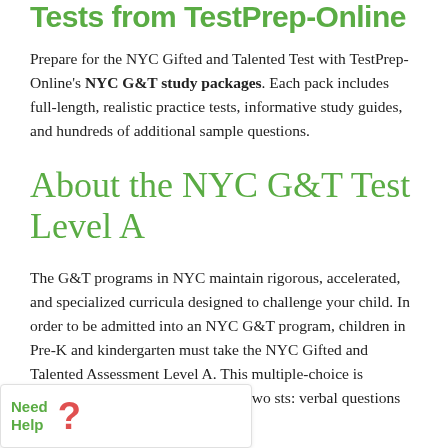Tests from TestPrep-Online
Prepare for the NYC Gifted and Talented Test with TestPrep-Online's NYC G&T study packages. Each pack includes full-length, realistic practice tests, informative study guides, and hundreds of additional sample questions.
About the NYC G&T Test Level A
The G&T programs in NYC maintain rigorous, accelerated, and specialized curricula designed to challenge your child. In order to be admitted into an NYC G&T program, children in Pre-K and kindergarten must take the NYC Gifted and Talented Assessment Level A. This multiple-choice is composed of questions taken from two sts: verbal questions from the Otis-Lennon